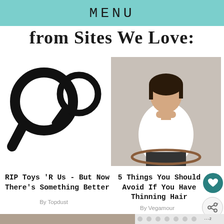MENU
from Sites We Love:
[Figure (illustration): Two overlapping magnifying glass icons in bold black outline style]
[Figure (photo): Asian woman in white blouse sitting on a circular chair, chin resting on hands, looking at camera, grey background]
RIP Toys 'R Us - But Now There's Something Better
By Topdust
5 Things You Should Avoid If You Have Thinning Hair
By Vegamour
[Figure (screenshot): Bottom strip showing partial image thumbnails and a polka-dot pattern overlay with a small logo at the right edge]